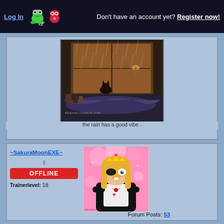Log In   Don't have an account yet? Register now!
[Figure (illustration): Anime-style illustration of a rainy day scene with a bed, window, and cat silhouette. Watermark: peien4r.tumblr.com]
the rain has a good vibe .
~SakuraMoonEXE~
♀
OFFLINE
Trainerlevel: 18
[Figure (illustration): Anime character avatar: blonde girl with crown and black outfit on pink sparkly background. Username: sakuramoonpill]
Forum Posts: 53